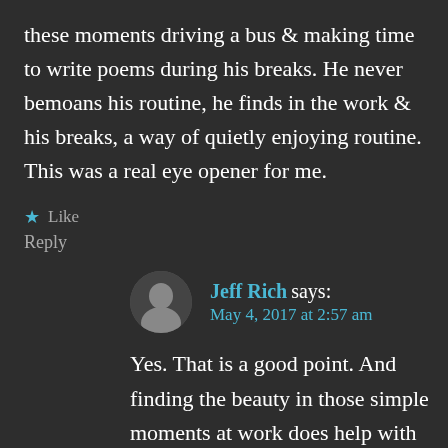these moments driving a bus & making time to write poems during his breaks. He never bemoans his routine, he finds in the work & his breaks, a way of quietly enjoying routine. This was a real eye opener for me.
★ Like
Reply
Jeff Rich says: May 4, 2017 at 2:57 am
Yes. That is a good point. And finding the beauty in those simple moments at work does help with